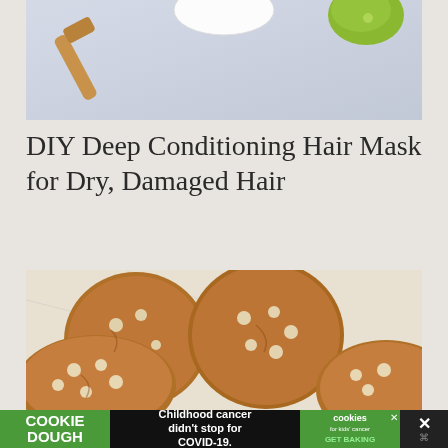[Figure (photo): Top portion of a photo showing ingredients for a hair mask on a light blue-gray background, with a wooden spatula on the left, a white bowl at top center, and a green lime at top right]
DIY Deep Conditioning Hair Mask for Dry, Damaged Hair
[Figure (photo): Photo of golden-brown cookies with white chocolate chips piled on a marble surface]
[Figure (other): Advertisement banner: COOKIE DOUGH text in green box on left, 'Childhood cancer didn't stop for COVID-19.' text in center, cookies for kids cancer logo with GET BAKING text, and X close button on right]